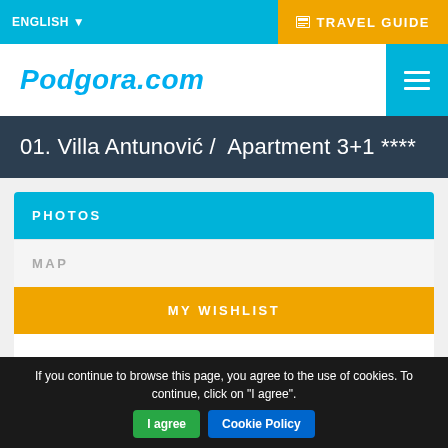ENGLISH ▼   TRAVEL GUIDE
Podgora.com
01. Villa Antunović /  Apartment 3+1 ****
PHOTOS
MAP
MY WISHLIST
DESCRIPTION
If you continue to browse this page, you agree to the use of cookies. To continue, click on "I agree".
I agree
Cookie Policy